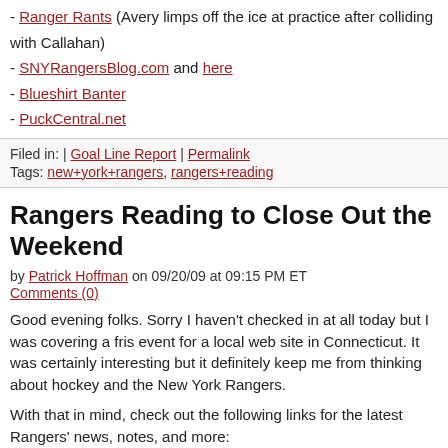- Ranger Rants (Avery limps off the ice at practice after colliding with Callahan)
- SNYRangersBlog.com and here
- Blueshirt Banter
- PuckCentral.net
Filed in: | Goal Line Report | Permalink
Tags: new+york+rangers, rangers+reading
Rangers Reading to Close Out the Weekend
by Patrick Hoffman on 09/20/09 at 09:15 PM ET
Comments (0)
Good evening folks. Sorry I haven't checked in at all today but I was covering a fris event for a local web site in Connecticut. It was certainly interesting but it definitely keep me from thinking about hockey and the New York Rangers.
With that in mind, check out the following links for the latest Rangers' news, notes, and more:
- Rangers Report
- Blue Notes
- The New York Daily News:
- The New York Post
- NewYorkRangers.com
Continue Reading »